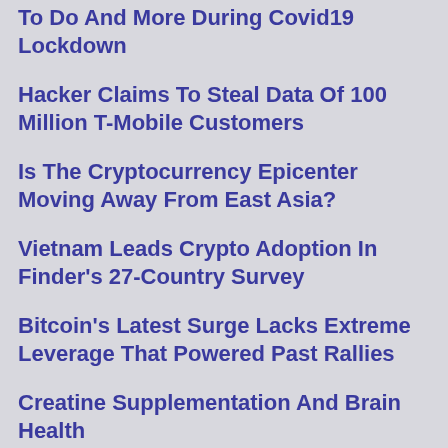To Do And More During Covid19 Lockdown
Hacker Claims To Steal Data Of 100 Million T-Mobile Customers
Is The Cryptocurrency Epicenter Moving Away From East Asia?
Vietnam Leads Crypto Adoption In Finder's 27-Country Survey
Bitcoin's Latest Surge Lacks Extreme Leverage That Powered Past Rallies
Creatine Supplementation And Brain Health
Nigerian State Says 337 Students Missing After Gunmen Attack
America's 690 Mile-Long Yard Sale Entices A Nation of